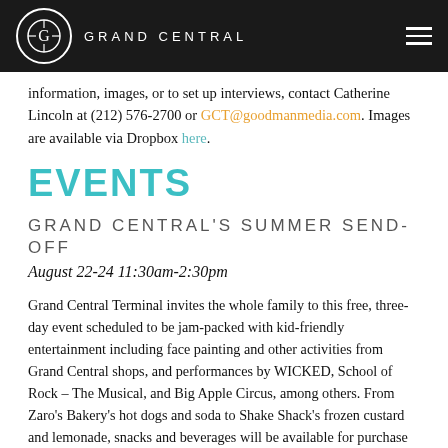GRAND CENTRAL
information, images, or to set up interviews, contact Catherine Lincoln at (212) 576-2700 or GCT@goodmanmedia.com. Images are available via Dropbox here.
EVENTS
GRAND CENTRAL'S SUMMER SEND-OFF
August 22-24 11:30am-2:30pm
Grand Central Terminal invites the whole family to this free, three-day event scheduled to be jam-packed with kid-friendly entertainment including face painting and other activities from Grand Central shops, and performances by WICKED, School of Rock – The Musical, and Big Apple Circus, among others. From Zaro's Bakery's hot dogs and soda to Shake Shack's frozen custard and lemonade, snacks and beverages will be available for purchase from Grand Central vendors.